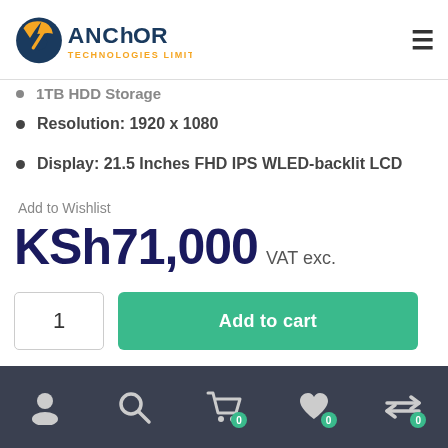Anchor Technologies Limited
1TB HDD Storage
Resolution: 1920 x 1080
Display: 21.5 Inches FHD IPS WLED-backlit LCD
Add to Wishlist
KSh71,000 VAT exc.
1
Add to cart
Navigation icons: account, search, cart (0), wishlist (0), compare (0)